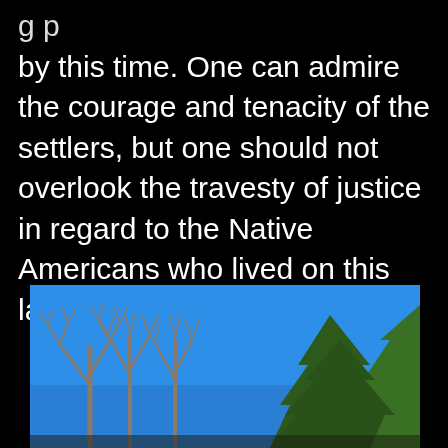by this time. One can admire the courage and tenacity of the settlers, but one should not overlook the travesty of justice in regard to the Native Americans who lived on this land for centuries before.
[Figure (photo): Outdoor photo showing bare deciduous trees and green pine/conifer trees against a bright blue sky.]